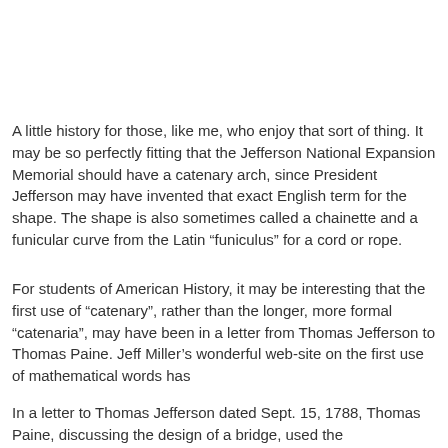A little history for those, like me, who enjoy that sort of thing. It may be so perfectly fitting that the Jefferson National Expansion Memorial should have a catenary arch, since President Jefferson may have invented that exact English term for the shape. The shape is also sometimes called a chainette and a funicular curve from the Latin "funiculus" for a cord or rope.
For students of American History, it may be interesting that the first use of "catenary", rather than the longer, more formal "catenaria", may have been in a letter from Thomas Jefferson to Thomas Paine. Jeff Miller's wonderful web-site on the first use of mathematical words has
In a letter to Thomas Jefferson dated Sept. 15, 1788, Thomas Paine, discussing the design of a bridge, used the